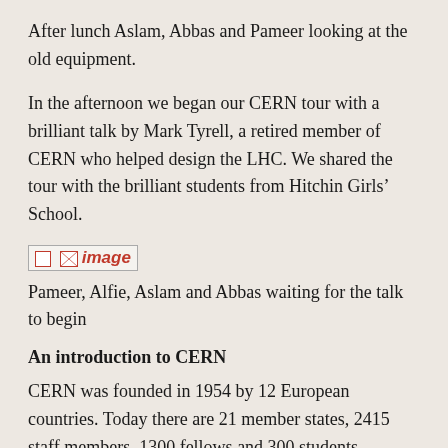After lunch Aslam, Abbas and Pameer looking at the old equipment.
In the afternoon we began our CERN tour with a brilliant talk by Mark Tyrell, a retired member of CERN who helped design the LHC. We shared the tour with the brilliant students from Hitchin Girls’ School.
[Figure (photo): Broken image placeholder showing image of Pameer, Alfie, Aslam and Abbas waiting for the talk to begin]
Pameer, Alfie, Aslam and Abbas waiting for the talk to begin
An introduction to CERN
CERN was founded in 1954 by 12 European countries. Today there are 21 member states, 2415 staff members, 1300 fellows and 300 students.